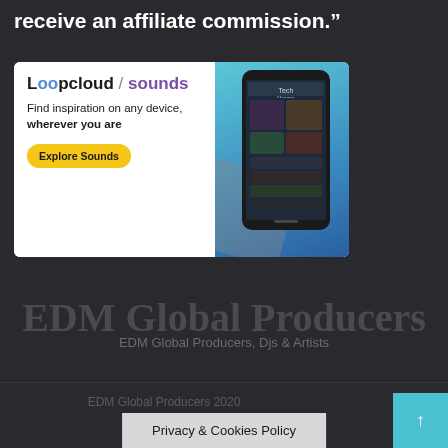receive an affiliate commission.”
[Figure (screenshot): Loopcloud/sounds advertisement banner. Text: Find inspiration on any device, wherever you are. Button: Explore Sounds. Shows app UI on phone/tablet.]
EDM Global Producers
EDM Global Producers, Djs & Artists
EDM Global Producers 2020
Privacy & Cookies Policy